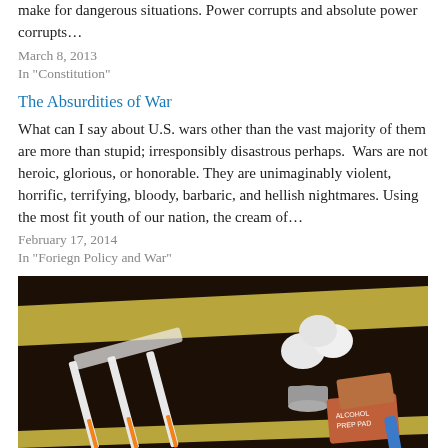make for dangerous situations. Power corrupts and absolute power corrupts…
March 8, 2013
In "Constitution"
The Absurdities of War
What can I say about U.S. wars other than the vast majority of them are more than stupid; irresponsibly disastrous perhaps.  Wars are not heroic, glorious, or honorable. They are unimaginably violent, horrific, terrifying, bloody, barbaric, and hellish nightmares. Using the most fit youth of our nation, the cream of…
February 17, 2014
In "Foriegn Policy and War"
[Figure (photo): Medical supplies on a dark table including syringes, cotton balls, a small cup, alcohol prep pads, and a yellow rubber tourniquet band]